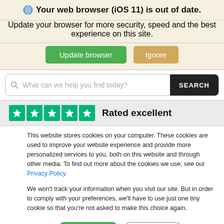🌐 Your web browser (iOS 11) is out of date.
Update your browser for more security, speed and the best experience on this site.
[Figure (screenshot): Two buttons: green 'Update browser' and tan/orange 'Ignore']
[Figure (screenshot): Search bar with magnifying glass icon, placeholder 'What can we help you find today?' and black SEARCH button]
[Figure (other): Five green Trustpilot stars followed by bold text 'Rated excellent']
This website stores cookies on your computer. These cookies are used to improve your website experience and provide more personalized services to you, both on this website and through other media. To find out more about the cookies we use, see our Privacy Policy.
We won't track your information when you visit our site. But in order to comply with your preferences, we'll have to use just one tiny cookie so that you're not asked to make this choice again.
[Figure (screenshot): Two buttons: green 'Accept' and outlined 'Decline']